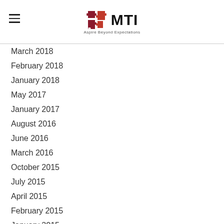MTI — Aspire Beyond Expectations
March 2018
February 2018
January 2018
May 2017
January 2017
August 2016
June 2016
March 2016
October 2015
July 2015
April 2015
February 2015
January 2015
December 2014
November 2014
October 2014
September 2014